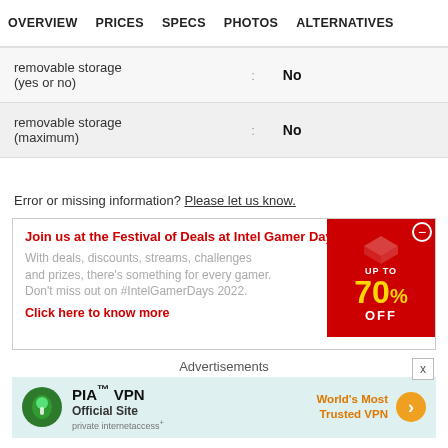OVERVIEW  PRICES  SPECS  PHOTOS  ALTERNATIVES
| removable storage (yes or no) | : | No |
| removable storage (maximum) | : | No |
Error or missing information? Please let us know.
Join us at the Festival of Deals at Intel Gamer Days!
With deals, discounts, streams, challenges and prizes, there's something for every gamer. Don't miss out on #IntelGamerDays 2022.
Click here to know more
[Figure (infographic): Red cube promotional image with 'UP TO 70% OFF' text in yellow and white on red background]
Advertisements
[Figure (infographic): PIA VPN advertisement banner with green logo, 'PIA™ VPN Official Site' text and 'World's Most Trusted VPN' tagline with orange arrow button]